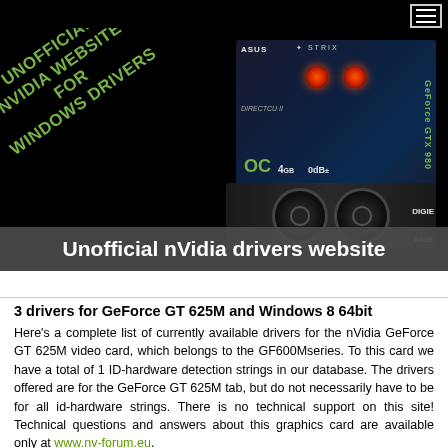[Figure (photo): Hero banner with ASUS GeForce GTX graphics card box on black background, with green italic slanted text reading UNOFFICIAL NVIDIA WEBSITE FOR WINDOWS DRIVERS, and a title banner below reading Unofficial nVidia drivers website]
Unofficial nVidia drivers website
3 drivers for GeForce GT 625M and Windows 8 64bit
Here's a complete list of currently available drivers for the nVidia GeForce GT 625M video card, which belongs to the GF600Mseries. To this card we have a total of 1 ID-hardware detection strings in our database. The drivers offered are for the GeForce GT 625M tab, but do not necessarily have to be for all id-hardware strings. There is no technical support on this site! Technical questions and answers about this graphics card are available only at www.nv-forum.eu.